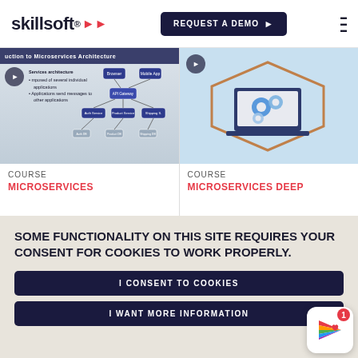skillsoft | REQUEST A DEMO
[Figure (screenshot): Course thumbnail for Microservices: shows a slide with microservices architecture diagram - nodes and connections on a dark navy background with bullet points]
COURSE
MICROSERVICES
[Figure (screenshot): Course thumbnail for Microservices Deep: light blue background with hexagonal frame containing a laptop with gears illustration]
COURSE
MICROSERVICES DEEP
SOME FUNCTIONALITY ON THIS SITE REQUIRES YOUR CONSENT FOR COOKIES TO WORK PROPERLY.
I CONSENT TO COOKIES
I WANT MORE INFORMATION